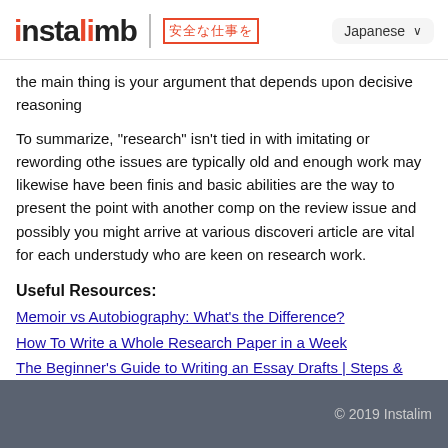instalimb | [Japanese text] Japanese
the main thing is your argument that depends upon decisive reasoning
To summarize, "research" isn't tied in with imitating or rewording other issues are typically old and enough work may likewise have been finished and basic abilities are the way to present the point with another comparison on the review issue and possibly you might arrive at various discoveries article are vital for each understudy who are keen on research work.
Useful Resources:
Memoir vs Autobiography: What's the Difference?
How To Write a Whole Research Paper in a Week
The Beginner's Guide to Writing an Essay Drafts | Steps & Examples
Difference Betweeen Memoir vs Autobiography - Guide 2022
© 2019 Instalimb